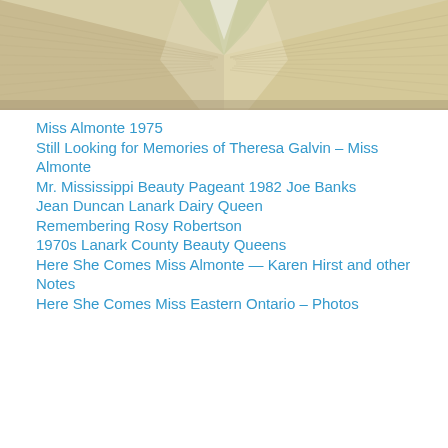[Figure (photo): Open book photographed from above, showing pages fanned open with a white center spine visible, warm toned pages on both sides.]
Miss Almonte 1975
Still Looking for Memories of Theresa Galvin – Miss Almonte
Mr. Mississippi Beauty Pageant 1982 Joe Banks
Jean Duncan Lanark Dairy Queen
Remembering Rosy Robertson
1970s Lanark County Beauty Queens
Here She Comes Miss Almonte — Karen Hirst and other Notes
Here She Comes Miss Eastern Ontario – Photos